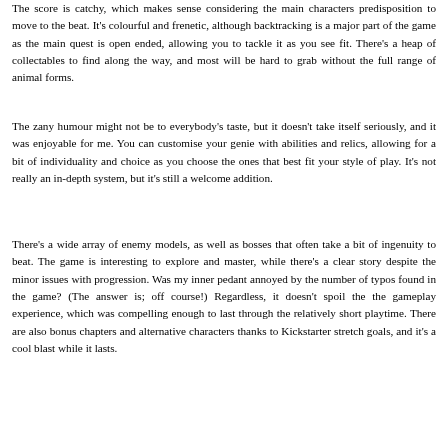The score is catchy, which makes sense considering the main characters predisposition to move to the beat. It's colourful and frenetic, although backtracking is a major part of the game as the main quest is open ended, allowing you to tackle it as you see fit. There's a heap of collectables to find along the way, and most will be hard to grab without the full range of animal forms.
The zany humour might not be to everybody's taste, but it doesn't take itself seriously, and it was enjoyable for me. You can customise your genie with abilities and relics, allowing for a bit of individuality and choice as you choose the ones that best fit your style of play. It's not really an in-depth system, but it's still a welcome addition.
There's a wide array of enemy models, as well as bosses that often take a bit of ingenuity to beat. The game is interesting to explore and master, while there's a clear story despite the minor issues with progression. Was my inner pedant annoyed by the number of typos found in the game? (The answer is; off course!) Regardless, it doesn't spoil the the gameplay experience, which was compelling enough to last through the relatively short playtime. There are also bonus chapters and alternative characters thanks to Kickstarter stretch goals, and it's a cool blast while it lasts.